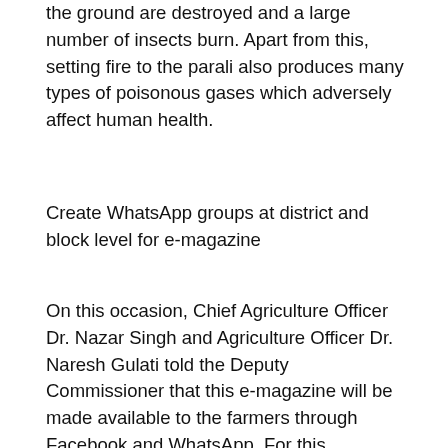the ground are destroyed and a large number of insects burn. Apart from this, setting fire to the parali also produces many types of poisonous gases which adversely affect human health.
Create WhatsApp groups at district and block level for e-magazine
On this occasion, Chief Agriculture Officer Dr. Nazar Singh and Agriculture Officer Dr. Naresh Gulati told the Deputy Commissioner that this e-magazine will be made available to the farmers through Facebook and WhatsApp. For this, WhatsApp groups have been formed at the district and block levels.